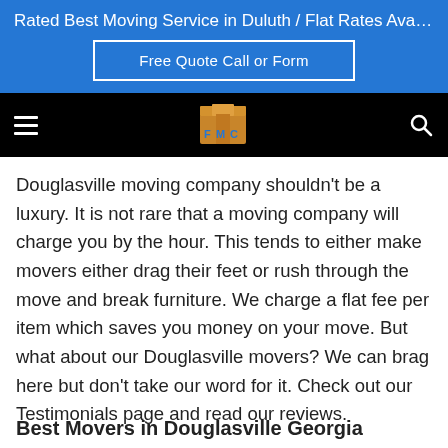Rated Best Moving Service in Duluth / Flat Rates Available / F...
Free Quote Call or Form
[Figure (logo): FMC moving company logo — cardboard boxes stacked with letters F, M, C in blue and gold on black navigation bar]
Douglasville moving company shouldn't be a luxury. It is not rare that a moving company will charge you by the hour. This tends to either make movers either drag their feet or rush through the move and break furniture. We charge a flat fee per item which saves you money on your move. But what about our Douglasville movers? We can brag here but don't take our word for it. Check out our Testimonials page and read our reviews.
Best Movers in Douglasville Georgia